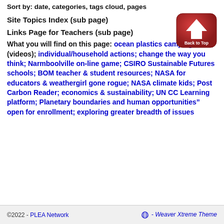Sort by: date, categories, tags cloud, pages
Site Topics Index (sub page)
Links Page for Teachers (sub page)
[Figure (illustration): Red rounded-rectangle button with white upward arrow icon and 'Back to Top' text label]
What you will find on this page: ocean plastics campaign (videos); individual/household actions; change the way you think; Narmboolville on-line game; CSIRO Sustainable Futures schools; BOM teacher & student resources; NASA for educators & weathergirl gone rogue; NASA climate kids; Post Carbon Reader; economics & sustainability; UN CC Learning platform; Planetary boundaries and human opportunities" open for enrollment; exploring greater breadth of issues
©2022 - PLEA Network  - Weaver Xtreme Theme